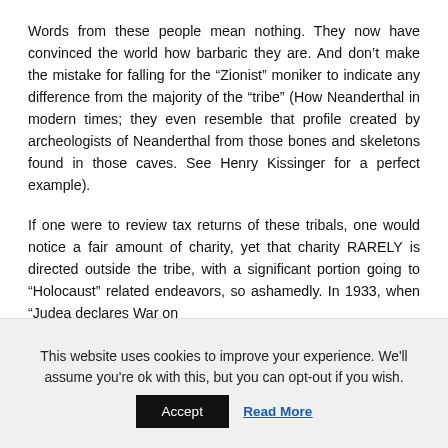Words from these people mean nothing. They now have convinced the world how barbaric they are. And don't make the mistake for falling for the “Zionist” moniker to indicate any difference from the majority of the “tribe” (How Neanderthal in modern times; they even resemble that profile created by archeologists of Neanderthal from those bones and skeletons found in those caves. See Henry Kissinger for a perfect example).
If one were to review tax returns of these tribals, one would notice a fair amount of charity, yet that charity RARELY is directed outside the tribe, with a significant portion going to “Holocaust” related endeavors, so ashamedly. In 1933, when “Judea declares War on
This website uses cookies to improve your experience. We'll assume you're ok with this, but you can opt-out if you wish.
Accept | Read More